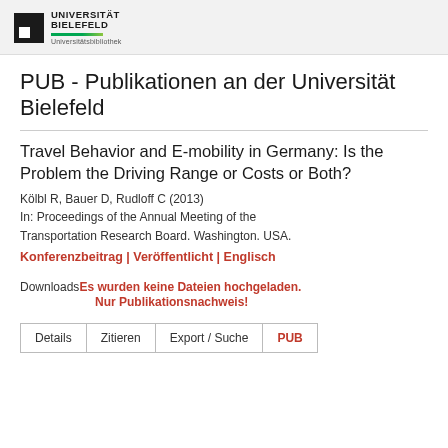UNIVERSITÄT BIELEFELD Universitätsbibliothek
PUB - Publikationen an der Universität Bielefeld
Travel Behavior and E-mobility in Germany: Is the Problem the Driving Range or Costs or Both?
Kölbl R, Bauer D, Rudloff C (2013)
In: Proceedings of the Annual Meeting of the Transportation Research Board. Washington. USA.
Konferenzbeitrag | Veröffentlicht | Englisch
Downloads: Es wurden keine Dateien hochgeladen. Nur Publikationsnachweis!
Details   Zitieren   Export / Suche   PUB